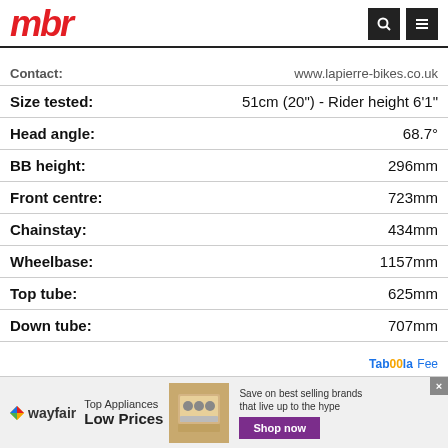mbr
| Attribute | Value |
| --- | --- |
| Contact: | www.lapierre-bikes.co.uk |
| Size tested: | 51cm (20") - Rider height 6'1" |
| Head angle: | 68.7° |
| BB height: | 296mm |
| Front centre: | 723mm |
| Chainstay: | 434mm |
| Wheelbase: | 1157mm |
| Top tube: | 625mm |
| Down tube: | 707mm |
[Figure (logo): Taboola Feed logo/link in bottom right]
[Figure (infographic): Wayfair advertisement banner: Top Appliances Low Prices, Shop now button, appliance image]